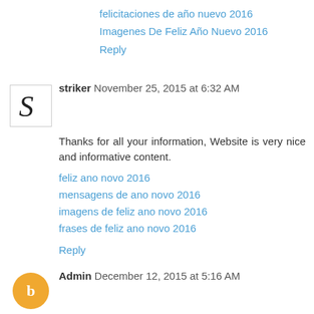felicitaciones de año nuevo 2016
Imagenes De Feliz Año Nuevo 2016
Reply
striker November 25, 2015 at 6:32 AM
Thanks for all your information, Website is very nice and informative content.
feliz ano novo 2016
mensagens de ano novo 2016
imagens de feliz ano novo 2016
frases de feliz ano novo 2016
Reply
Admin December 12, 2015 at 5:16 AM
Your work is very good and I appreciate you and hoping for more informative posts.